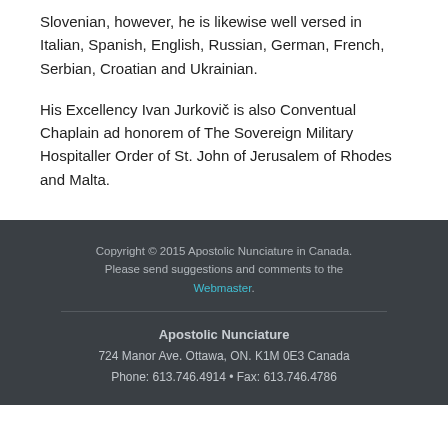Slovenian, however, he is likewise well versed in Italian, Spanish, English, Russian, German, French, Serbian, Croatian and Ukrainian.
His Excellency Ivan Jurkovič is also Conventual Chaplain ad honorem of The Sovereign Military Hospitaller Order of St. John of Jerusalem of Rhodes and Malta.
Copyright © 2015 Apostolic Nunciature in Canada. Please send suggestions and comments to the Webmaster. Apostolic Nunciature 724 Manor Ave. Ottawa, ON. K1M 0E3 Canada Phone: 613.746.4914 • Fax: 613.746.4786